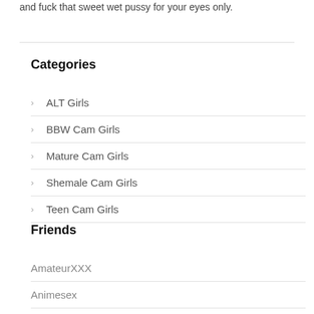and fuck that sweet wet pussy for your eyes only.
Categories
ALT Girls
BBW Cam Girls
Mature Cam Girls
Shemale Cam Girls
Teen Cam Girls
Friends
AmateurXXX
Animesex